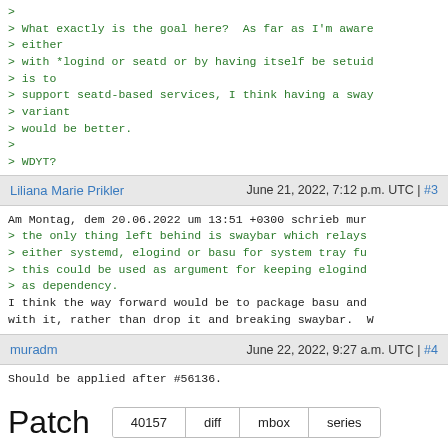>
> What exactly is the goal here?  As far as I'm aware
> either
> with *logind or seatd or by having itself be setuid
> is to
> support seatd-based services, I think having a sway
> variant
> would be better.
>
> WDYT?
Liliana Marie Prikler | June 21, 2022, 7:12 p.m. UTC | #3
Am Montag, dem 20.06.2022 um 13:51 +0300 schrieb mur
> the only thing left behind is swaybar which relays
> either systemd, elogind or basu for system tray fu
> this could be used as argument for keeping elogind
> as dependency.
I think the way forward would be to package basu and
with it, rather than drop it and breaking swaybar.  W
muradm | June 22, 2022, 9:27 a.m. UTC | #4
Should be applied after #56136.
Patch
40157 | diff | mbox | series